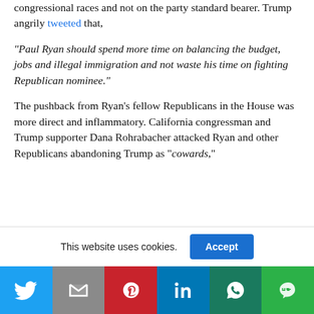congressional races and not on the party standard bearer. Trump angrily tweeted that,
“Paul Ryan should spend more time on balancing the budget, jobs and illegal immigration and not waste his time on fighting Republican nominee.”
The pushback from Ryan’s fellow Republicans in the House was more direct and inflammatory. California congressman and Trump supporter Dana Rohrabacher attacked Ryan and other Republicans abandoning Trump as “cowards,”
This website uses cookies.
[Figure (other): Social sharing bar with Twitter, Gmail, Pinterest, LinkedIn, WhatsApp, and Line buttons]